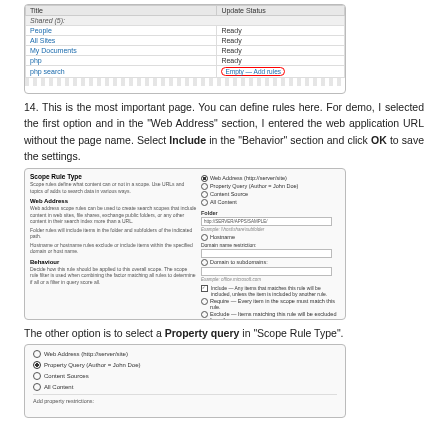[Figure (screenshot): Table showing Title/Update Status columns with rows: Shared(5) group header, People - Ready, All Sites - Ready, My Documents - Ready, php - Ready, php search - Empty (Add rules circled in red)]
14. This is the most important page. You can define rules here. For demo, I selected the first option and in the "Web Address" section, I entered the web application URL without the page name. Select Include in the "Behavior" section and click OK to save the settings.
[Figure (screenshot): Scope Rule Type form with Web Address section showing fields for path input, Hostname, and Behavior section with Include/Exclude radio options]
The other option is to select a Property query in "Scope Rule Type".
[Figure (screenshot): Scope Rule Type options showing: Web Address (http://server/site), Property Query (Author = John Doe) selected, Content Sources, All Content, and Add property restrictions field]